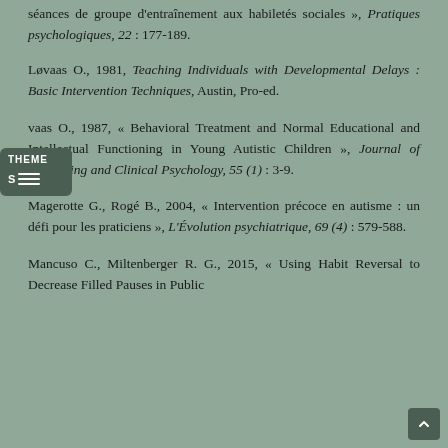séances de groupe d'entraînement aux habiletés sociales », Pratiques psychologiques, 22 : 177-189.
Løvaas O., 1981, Teaching Individuals with Developmental Delays : Basic Intervention Techniques, Austin, Pro-ed.
Løvaas O., 1987, « Behavioral Treatment and Normal Educational and Intellectual Functioning in Young Autistic Children », Journal of Consulting and Clinical Psychology, 55 (1) : 3-9.
Magerotte G., Rogé B., 2004, « Intervention précoce en autisme : un défi pour les praticiens », L'Évolution psychiatrique, 69 (4) : 579-588.
Mancuso C., Miltenberger R. G., 2015, « Using Habit Reversal to Decrease Filled Pauses in Public